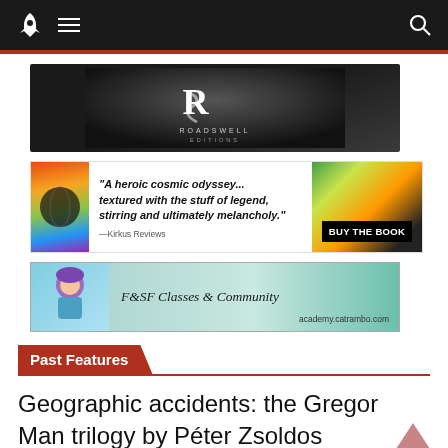Navigation bar with rocket logo, menu icon, and search icon
[Figure (logo): Roadswell Editions logo — stylized R on dark gradient background with text ROADSWELL EDITIONS below]
[Figure (illustration): Book advertisement banner: colorful book spine on left, quote text in center: "A heroic cosmic odyssey... textured with the stuff of legend, stirring and ultimately melancholy." —Kirkus Reviews, BUY THE BOOK button on right with colorful geometric background]
[Figure (illustration): F&SF Classes & Community banner with illustrated character on left and text: F&SF Classes & Community academy.catrambo.com]
Past Features
Geographic accidents: the Gregor Man trilogy by Péter Zsoldos